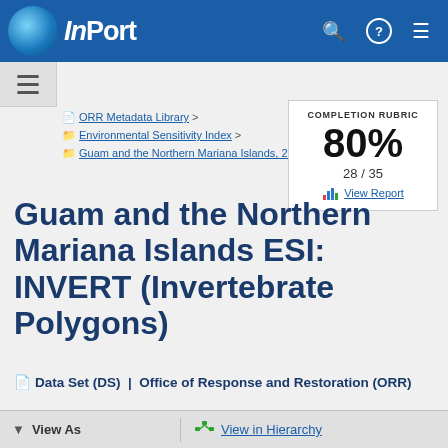InPort
ORR Metadata Library > Environmental Sensitivity Index > Guam and the Northern Mariana Islands, 2005 >
COMPLETION RUBRIC 80% 28 / 35 View Report
Guam and the Northern Mariana Islands ESI: INVERT (Invertebrate Polygons)
Data Set (DS)  |  Office of Response and Restoration (ORR)
GUID: gov.noaa.nmfs.inport:40308  |  Updated: August 9, 2022  |  Published / External
View As   View in Hierarchy